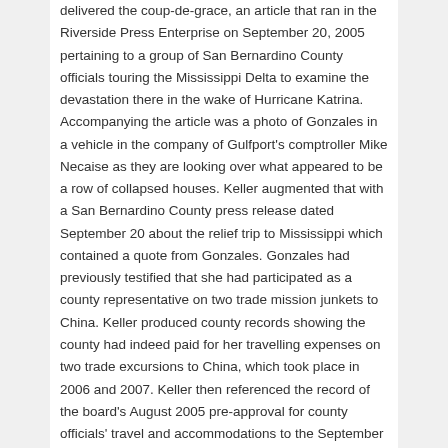delivered the coup-de-grace, an article that ran in the Riverside Press Enterprise on September 20, 2005 pertaining to a group of San Bernardino County officials touring the Mississippi Delta to examine the devastation there in the wake of Hurricane Katrina. Accompanying the article was a photo of Gonzales in a vehicle in the company of Gulfport's comptroller Mike Necaise as they are looking over what appeared to be a row of collapsed houses. Keller augmented that with a San Bernardino County press release dated September 20 about the relief trip to Mississippi which contained a quote from Gonzales. Gonzales had previously testified that she had participated as a county representative on two trade mission junkets to China. Keller produced county records showing the county had indeed paid for her travelling expenses on two trade excursions to China, which took place in 2006 and 2007. Keller then referenced the record of the board's August 2005 pre-approval for county officials' travel and accommodations to the September 2005 China trade mission, which made no mention of Gonzales' planned attendance.
In the face of Keller's presentation, Gonzales remained